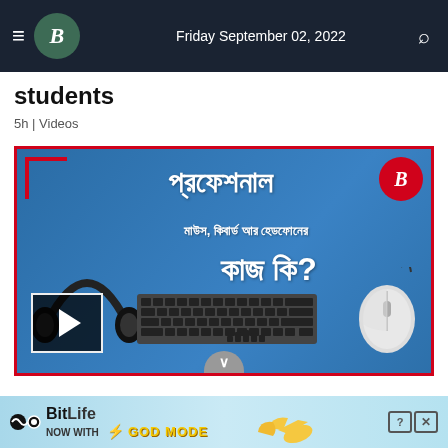Friday September 02, 2022
students
5h | Videos
[Figure (screenshot): Video thumbnail for a Bengali-language educational video about professional mouse, keyboard and headphones. Blue background with Bengali text, headphones illustration, keyboard and mouse graphics, play button, and a B logo.]
[Figure (advertisement): BitLife advertisement banner: NOW WITH GOD MODE]